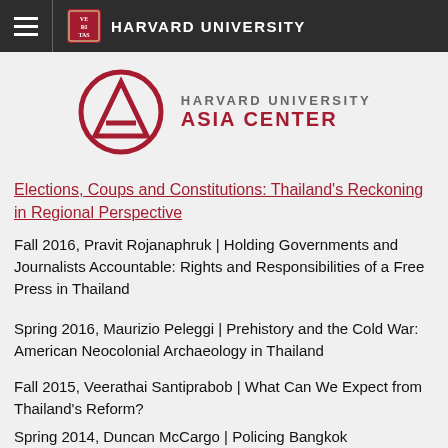HARVARD UNIVERSITY
[Figure (logo): Harvard University Asia Center logo with circular 'A' symbol in crimson and text 'HARVARD UNIVERSITY ASIA CENTER']
Elections, Coups and Constitutions: Thailand's Reckoning in Regional Perspective
Fall 2016, Pravit Rojanaphruk | Holding Governments and Journalists Accountable: Rights and Responsibilities of a Free Press in Thailand
Spring 2016, Maurizio Peleggi | Prehistory and the Cold War: American Neocolonial Archaeology in Thailand
Fall 2015, Veerathai Santiprabob | What Can We Expect from Thailand's Reform?
Spring 2014, Duncan McCargo | Policing Bangkok